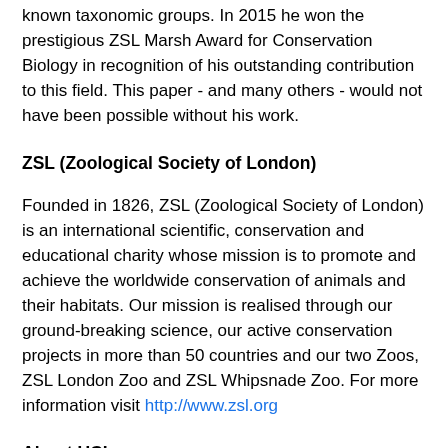known taxonomic groups. In 2015 he won the prestigious ZSL Marsh Award for Conservation Biology in recognition of his outstanding contribution to this field. This paper - and many others - would not have been possible without his work.
ZSL (Zoological Society of London)
Founded in 1826, ZSL (Zoological Society of London) is an international scientific, conservation and educational charity whose mission is to promote and achieve the worldwide conservation of animals and their habitats. Our mission is realised through our ground-breaking science, our active conservation projects in more than 50 countries and our two Zoos, ZSL London Zoo and ZSL Whipsnade Zoo. For more information visit http://www.zsl.org
About UCL